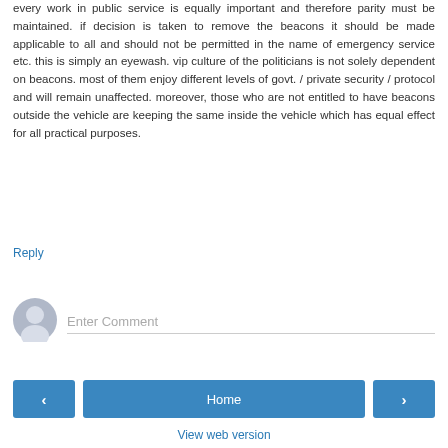every work in public service is equally important and therefore parity must be maintained. if decision is taken to remove the beacons it should be made applicable to all and should not be permitted in the name of emergency service etc. this is simply an eyewash. vip culture of the politicians is not solely dependent on beacons. most of them enjoy different levels of govt. / private security / protocol and will remain unaffected. moreover, those who are not entitled to have beacons outside the vehicle are keeping the same inside the vehicle which has equal effect for all practical purposes.
Reply
[Figure (illustration): Default user avatar icon - grey circle with person silhouette]
Enter Comment
< Home > View web version